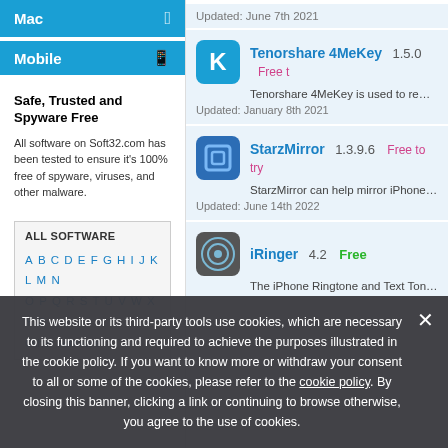Mac
Mobile
Safe, Trusted and Spyware Free
All software on Soft32.com has been tested to ensure it’s 100% free of spyware, viruses, and other malware.
| ALL SOFTWARE |
| --- |
| A B C D E F G H I J K L M N | O P Q R S T U V W X Y Z | Other software |
Updated: June 7th 2021
Tenorshare 4MeKey 1.5.0 Free t
Tenorshare 4MeKey is used to remove a
Updated: January 8th 2021
StarzMirror 1.3.9.6 Free to try
StarzMirror can help mirror iPhone and A
Updated: June 14th 2022
iRinger 4.2 Free
The iPhone Ringtone and Text Tone Fact
This website or its third-party tools use cookies, which are necessary to its functioning and required to achieve the purposes illustrated in the cookie policy. If you want to know more or withdraw your consent to all or some of the cookies, please refer to the cookie policy. By closing this banner, clicking a link or continuing to browse otherwise, you agree to the use of cookies.